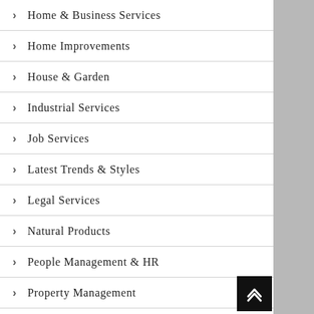> Home & Business Services
> Home Improvements
> House & Garden
> Industrial Services
> Job Services
> Latest Trends & Styles
> Legal Services
> Natural Products
> People Management & HR
> Property Management